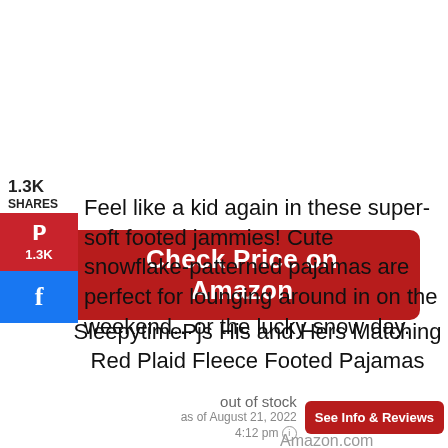[Figure (other): Red 'Check Price on Amazon' button]
1.3K
SHARES
[Figure (other): Pinterest share button with 1.3K count]
[Figure (other): Facebook share button]
Feel like a kid again in these super-soft footed jammies! Cute snowflake-patterned pajamas are perfect for lounging around in on the weekend…or the lucky snow day.
SleepytimePjs His and Hers Matching Red Plaid Fleece Footed Pajamas
out of stock
as of August 21, 2022
4:12 pm
[Figure (other): Red 'See Info & Reviews' button]
Amazon.com